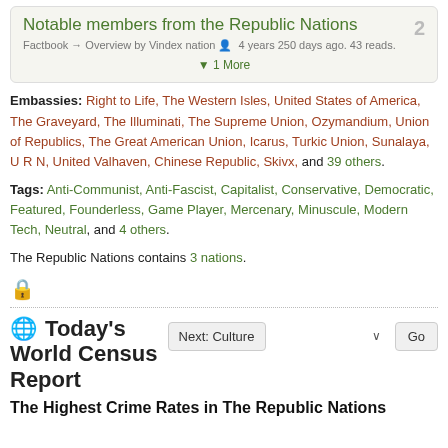Notable members from the Republic Nations
Factbook → Overview by Vindex nation 4 years 250 days ago. 43 reads.
▼ 1 More
Embassies: Right to Life, The Western Isles, United States of America, The Graveyard, The Illuminati, The Supreme Union, Ozymandium, Union of Republics, The Great American Union, Icarus, Turkic Union, Sunalaya, U R N, United Valhaven, Chinese Republic, Skivx, and 39 others.
Tags: Anti-Communist, Anti-Fascist, Capitalist, Conservative, Democratic, Featured, Founderless, Game Player, Mercenary, Minuscule, Modern Tech, Neutral, and 4 others.
The Republic Nations contains 3 nations.
Today's World Census Report
Next: Culture
The Highest Crime Rates in The Republic Nations